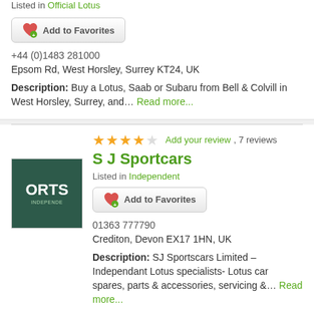Listed in Official Lotus
Add to Favorites
+44 (0)1483 281000
Epsom Rd, West Horsley, Surrey KT24, UK
Description: Buy a Lotus, Saab or Subaru from Bell & Colvill in West Horsley, Surrey, and... Read more...
[Figure (logo): S J Sportcars logo — dark green background with text ORTS INDEPENDE]
4.5 stars — Add your review, 7 reviews
S J Sportcars
Listed in Independent
Add to Favorites
01363 777790
Crediton, Devon EX17 1HN, UK
Description: SJ Sportscars Limited – Independant Lotus specialists- Lotus car spares, parts & accessories, servicing &... Read more...